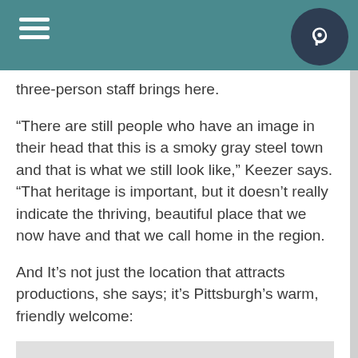three-person staff brings here.
“There are still people who have an image in their head that this is a smoky gray steel town and that is what we still look like,” Keezer says. “That heritage is important, but it doesn’t really indicate the thriving, beautiful place that we now have and that we call home in the region.
And It’s not just the location that attracts productions, she says; it’s Pittsburgh’s warm, friendly welcome:
“We have movie sets where people in the neighborhood make cookies and take them to the set. They have block parties and invite the cast and crew. That doesn’t happen other